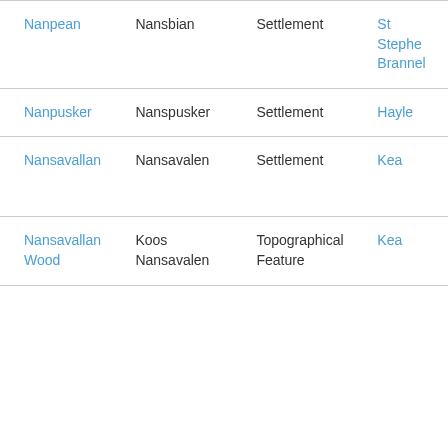| Nanpean | Nansbian | Settlement | St Stephen Brannel |
| Nanpusker | Nanspusker | Settlement | Hayle |
| Nansavallan | Nansavalen | Settlement | Kea |
| Nansavallan Wood | Koos Nansavalen | Topographical Feature | Kea |